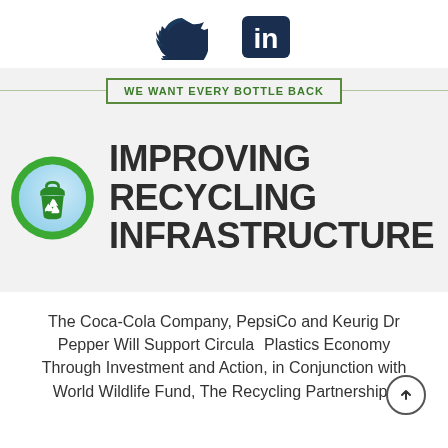[Figure (logo): Twitter bird icon and LinkedIn 'in' logo side by side at top of page]
[Figure (infographic): Infographic section with green banner 'WE WANT EVERY BOTTLE BACK', recycling bin icon in green circle, and bold text 'IMPROVING RECYCLING INFRASTRUCTURE']
The Coca-Cola Company, PepsiCo and Keurig Dr Pepper Will Support Circular Plastics Economy Through Investment and Action, in Conjunction with World Wildlife Fund, The Recycling Partnership i...